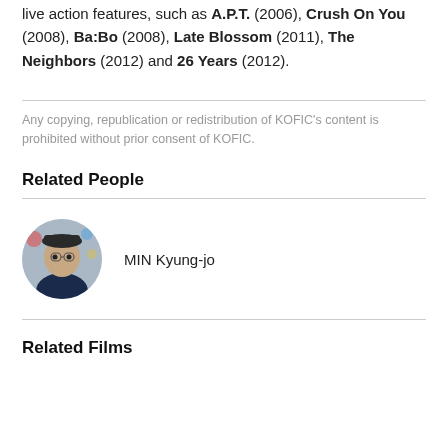live action features, such as A.P.T. (2006), Crush On You (2008), Ba:Bo (2008), Late Blossom (2011), The Neighbors (2012) and 26 Years (2012).
Any copying, republication or redistribution of KOFIC's content is prohibited without prior consent of KOFIC.
Related People
[Figure (photo): Circular portrait photo of MIN Kyung-jo]
MIN Kyung-jo
Related Films